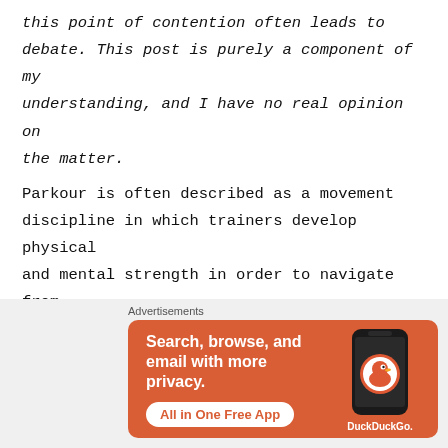this point of contention often leads to debate. This post is purely a component of my understanding, and I have no real opinion on the matter.
Parkour is often described as a movement discipline in which trainers develop physical and mental strength in order to navigate from point A to point B in a complex urban environment as quickly and efficiently as
[Figure (infographic): DuckDuckGo advertisement banner: orange background with text 'Search, browse, and email with more privacy.' and button 'All in One Free App', with a phone showing DuckDuckGo logo on the right.]